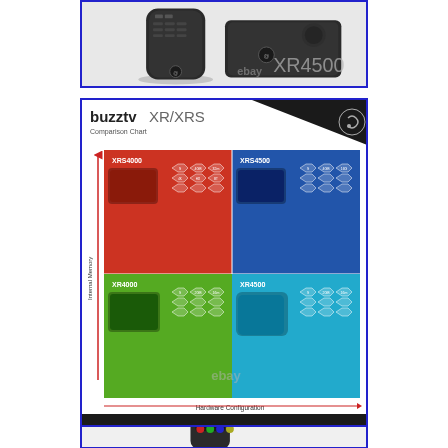[Figure (photo): BuzzTV XR4500 set-top box with remote control, dark device on white background with 'ebay XR4500' watermark text]
[Figure (infographic): BuzzTV XR/XRS Comparison Chart showing four quadrants: XRS4000 (red, top-left), XRS4500 (blue, top-right), XR4000 (green, bottom-left), XR4500 (cyan, bottom-right). Y-axis: Internal Memory, X-axis: Hardware Configuration. Each quadrant shows device image and hexagonal spec icons. Footer: buzztv logo, www.buzztv.com, EVERYONE'S TV BOX, Android logo. eBay watermark.]
[Figure (photo): Partial view of a third BuzzTV product with remote control, cropped at bottom of page]